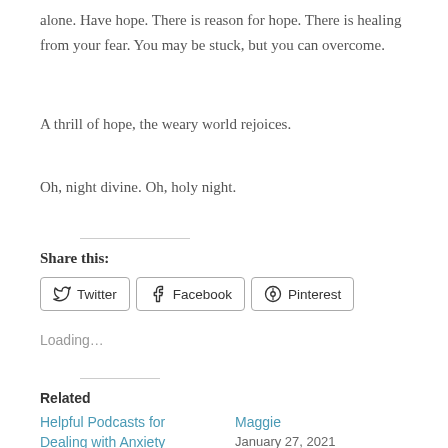alone. Have hope. There is reason for hope. There is healing from your fear. You may be stuck, but you can overcome.
A thrill of hope, the weary world rejoices.
Oh, night divine. Oh, holy night.
Share this:
Twitter Facebook Pinterest
Loading…
Related
Helpful Podcasts for Dealing with Anxiety
Maggie
January 27, 2021